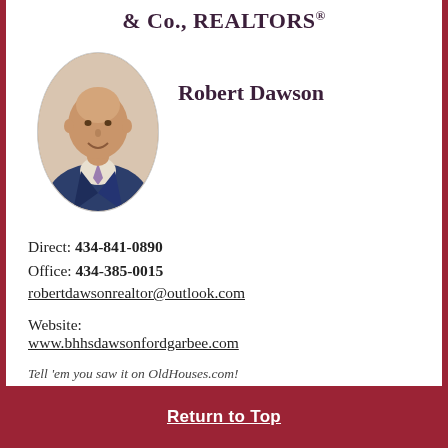& Co., REALTORS®
Robert Dawson
[Figure (photo): Oval portrait photo of Robert Dawson, a bald man in a dark blue blazer and lavender tie, smiling.]
Direct: 434-841-0890
Office: 434-385-0015
robertdawsonrealtor@outlook.com
Website:
www.bhhsdawsonfordgarbee.com
Tell 'em you saw it on OldHouses.com!
Return to Top